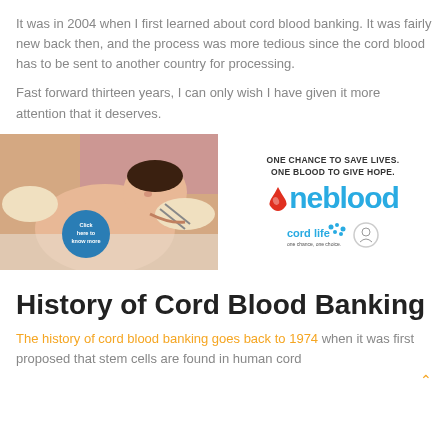It was in 2004 when I first learned about cord blood banking. It was fairly new back then, and the process was more tedious since the cord blood has to be sent to another country for processing.
Fast forward thirteen years, I can only wish I have given it more attention that it deserves.
[Figure (photo): Newborn baby being held by medical staff, cord blood banking advertisement with oneblood logo and cordlife logo]
History of Cord Blood Banking
The history of cord blood banking goes back to 1974 when it was first proposed that stem cells are found in human cord